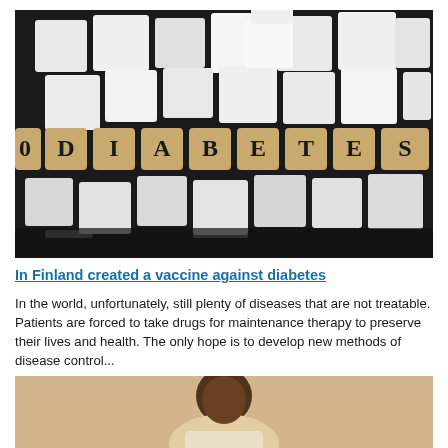[Figure (photo): Photo of wooden letter blocks spelling DIABETES surrounded by white sugar cubes on a dark background]
In Finland created a vaccine against diabetes
In the world, unfortunately, still plenty of diseases that are not treatable. Patients are forced to take drugs for maintenance therapy to preserve their lives and health. The only hope is to develop new methods of disease control...
[Figure (photo): Photo of a young Black child in a white shirt, head bowed, on a warm beige background]